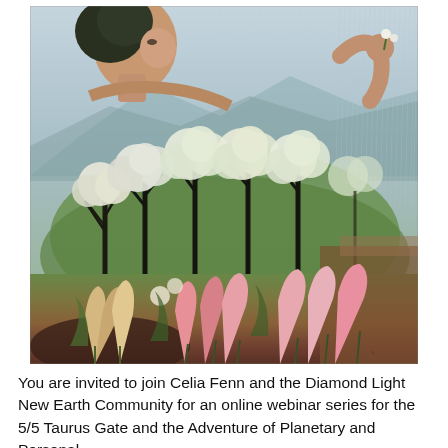[Figure (illustration): A painting of a large female figure whose body merges with a spring landscape. The background shows a rainy sky with grey-blue tones and distant mountains. The woman's body is depicted as if it contains or is composed of a lush spring orchard scene with blossoming white-flowered trees on a green grassy field. In the foreground are pink, peach, and white lily-like flowers growing from reddish-brown earth. The woman's face is shown in profile on the upper left looking right, with dark curly hair. Her right arm/hand is raised on the upper right side holding a small white flower between fingers. The overall mood is serene and nature-mystical.]
You are invited to join Celia Fenn and the Diamond Light New Earth Community for an online webinar series for the 5/5 Taurus Gate and the Adventure of Planetary and Personal